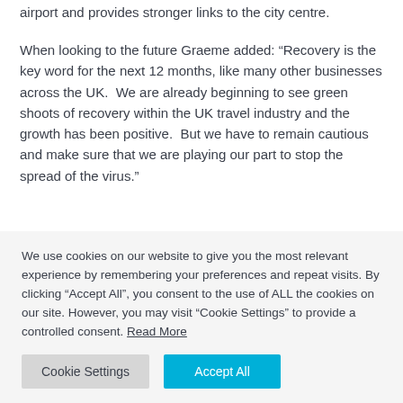airport and provides stronger links to the city centre.
When looking to the future Graeme added: “Recovery is the key word for the next 12 months, like many other businesses across the UK.  We are already beginning to see green shoots of recovery within the UK travel industry and the growth has been positive.  But we have to remain cautious and make sure that we are playing our part to stop the spread of the virus.”
The safety and wellbeing of everyone at the airport remains a priority and the safety measures introduced at the beginning
We use cookies on our website to give you the most relevant experience by remembering your preferences and repeat visits. By clicking “Accept All”, you consent to the use of ALL the cookies on our site. However, you may visit “Cookie Settings” to provide a controlled consent. Read More